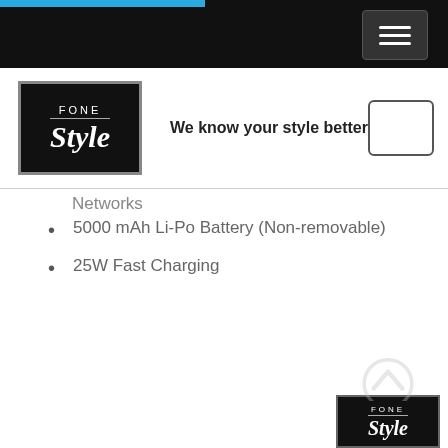[Figure (logo): Fone Style logo - black box with FONE in small caps and Style in bold italic, with tagline We know your style better]
Networks
5000 mAh Li-Po Battery (Non-removable)
25W Fast Charging
[Figure (logo): Fone Style watermark logo at bottom right corner]